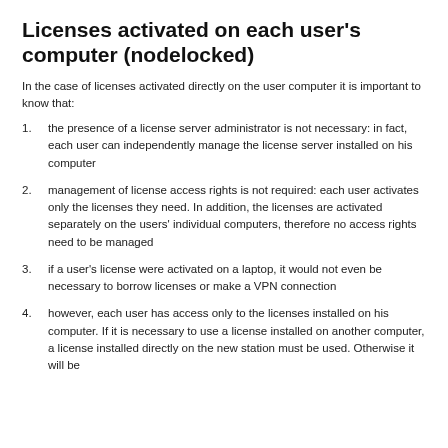Licenses activated on each user's computer (nodelocked)
In the case of licenses activated directly on the user computer it is important to know that:
1. the presence of a license server administrator is not necessary: in fact, each user can independently manage the license server installed on his computer
2. management of license access rights is not required: each user activates only the licenses they need. In addition, the licenses are activated separately on the users' individual computers, therefore no access rights need to be managed
3. if a user's license were activated on a laptop, it would not even be necessary to borrow licenses or make a VPN connection
4. however, each user has access only to the licenses installed on his computer. If it is necessary to use a license installed on another computer, a license installed directly on the new station must be used. Otherwise it will be